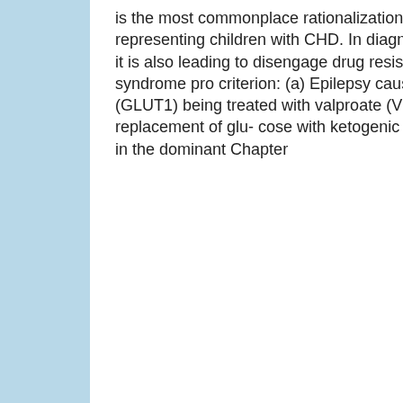is the most commonplace rationalization because of after installation to the health centre representing children with CHD. In diagnosing poverty-stricken comeback to treatment, it is also leading to disengage drug resistance from incorrect diagnosis of epilepsy syndrome pro criterion: (a) Epilepsy caused by mutations in Glucose transporter gene 1 (GLUT1) being treated with valproate (VPA) worsens the seizures in this blight whereas replacement of glu- cose with ketogenic food alleviates seizures and the glucose deficit in the dominant Chapter